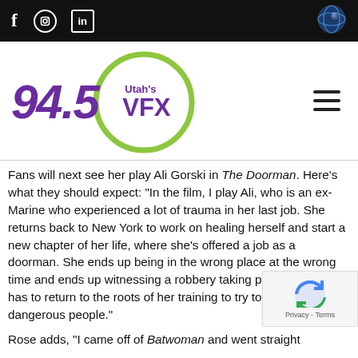94.5 Utah's VFX – social icons and logo bar
[Figure (logo): 94.5 Utah's VFX radio station logo with green circle and purple text]
Fans will next see her play Ali Gorski in The Doorman. Here's what they should expect: "In the film, I play Ali, who is an ex-Marine who experienced a lot of trauma in her last job. She returns back to New York to work on healing herself and start a new chapter of her life, where she's offered a job as a doorman. She ends up being in the wrong place at the wrong time and ends up witnessing a robbery taking place and she has to return to the roots of her training to try to outs[mart) a lot of very dangerous people."
Rose adds, "I came off of Batwoman and went straight